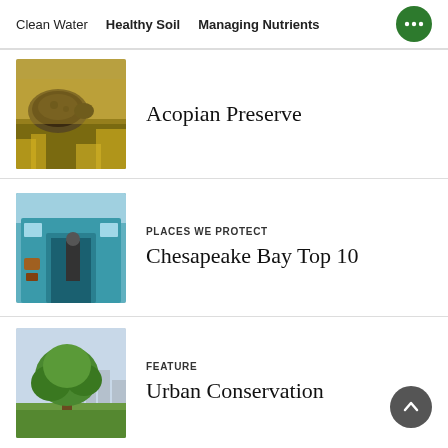Clean Water   Healthy Soil   Managing Nutrients
[Figure (photo): Close-up photo of a turtle among yellow vegetation]
Acopian Preserve
[Figure (photo): Photo of inside a teal boat cabin with a person visible]
PLACES WE PROTECT
Chesapeake Bay Top 10
[Figure (photo): Photo of a large tree in a green park with city skyline in background]
FEATURE
Urban Conservation